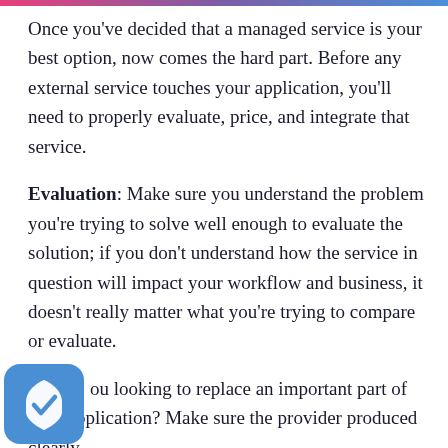Once you've decided that a managed service is your best option, now comes the hard part. Before any external service touches your application, you'll need to properly evaluate, price, and integrate that service.
Evaluation: Make sure you understand the problem you're trying to solve well enough to evaluate the solution; if you don't understand how the service in question will impact your workflow and business, it doesn't really matter what you're trying to compare or evaluate.
ou looking to replace an important part of your application? Make sure the provider produced clearly
[Figure (illustration): A rounded square blue icon with a white shield and checkmark inside, partially overlapping the bottom-left of the page.]